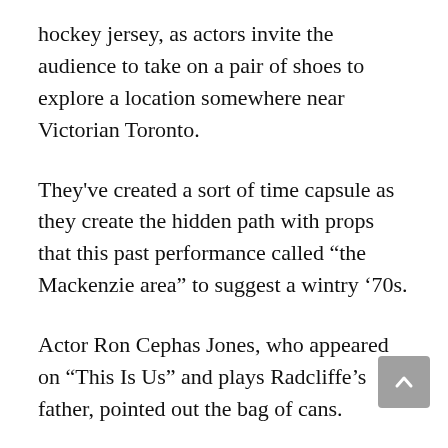hockey jersey, as actors invite the audience to take on a pair of shoes to explore a location somewhere near Victorian Toronto.
They've created a sort of time capsule as they create the hidden path with props that this past performance called “the Mackenzie area” to suggest a wintry ‘70s.
Actor Ron Cephas Jones, who appeared on “This Is Us” and plays Radcliffe’s father, pointed out the bag of cans.
“That’s the meal you get in Carigou,” he said. “The…